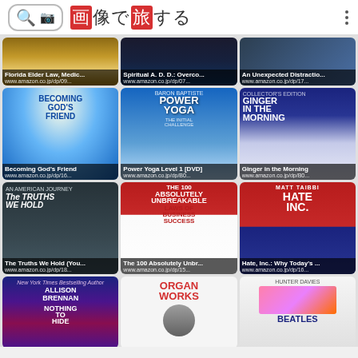画像で旅する
[Figure (screenshot): Grid of Amazon book listings: Row 1 (partial): Florida Elder Law, Medic... (www.amazon.co.jp/dp/09...), Spiritual A.D.D.: Overco... (www.amazon.co.jp/dp/07...), An Unexpected Distractio... (www.amazon.co.jp/dp/17...). Row 2: Becoming God's Friend (www.amazon.co.jp/dp/16...), Power Yoga Level 1 [DVD] (www.amazon.co.jp/dp/B0...), Ginger in the Morning (www.amazon.co.jp/dp/B0...). Row 3: The Truths We Hold (You... (www.amazon.co.jp/dp/18...), The 100 Absolutely Unbr... (www.amazon.co.jp/dp/15...), Hate, Inc.: Why Today's ... (www.amazon.co.jp/dp/16...). Row 4 (partial): Allison Brennan - Nothing to Hide, Organ Works, The Beatles by Hunter Davies]